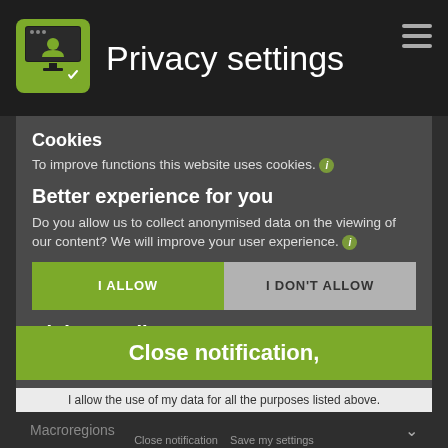Privacy settings
Cookies
To improve functions this website uses cookies. ℹ
Better experience for you
Do you allow us to collect anonymised data on the viewing of our content? We will improve your user experience. ℹ
I ALLOW
I DON'T ALLOW
Higher quality content
Do you allow us to record your activities on
Close notification,
I allow the use of my data for all the purposes listed above.
Macroregions
Close notification   Save my settings